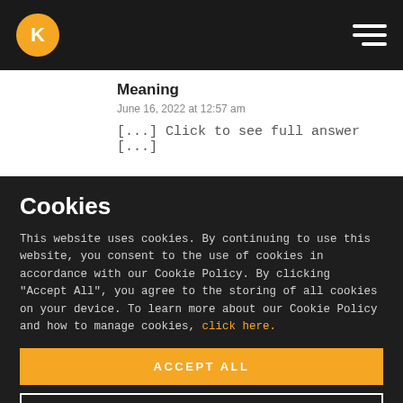Navigation bar with logo and hamburger menu
Meaning
June 16, 2022 at 12:57 am
[...] Click to see full answer [...]
Cookies
This website uses cookies. By continuing to use this website, you consent to the use of cookies in accordance with our Cookie Policy. By clicking "Accept All", you agree to the storing of all cookies on your device. To learn more about our Cookie Policy and how to manage cookies, click here.
ACCEPT ALL
SETTINGS